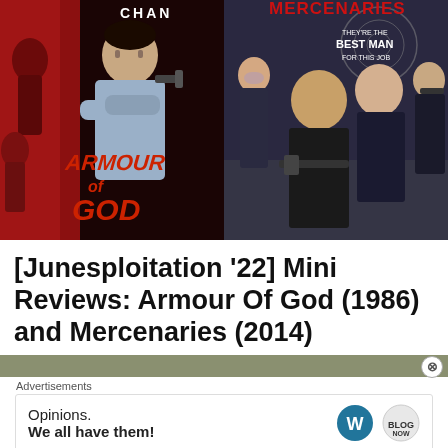[Figure (photo): Two movie posters side by side: left is 'Armour of God' (1986) featuring Jackie Chan with red title text on dark background; right is 'Mercenaries' (2014) featuring four armed women in black outfits with red title text and tagline 'They're the best man for this job']
[Junesploitation '22] Mini Reviews: Armour Of God (1986) and Mercenaries (2014)
[Figure (screenshot): Partial grey banner at bottom of page, partially visible]
Advertisements
[Figure (photo): Advertisement banner: 'Opinions. We all have them!' with WordPress logo and another circular logo on the right]